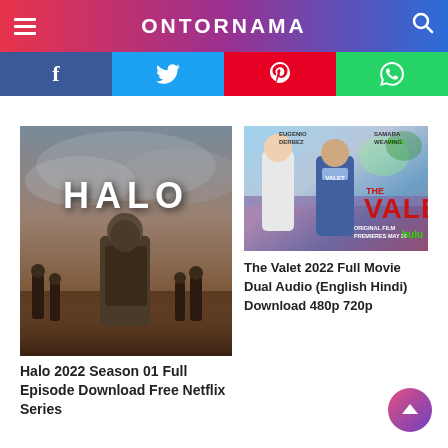ONTORNAMA
[Figure (screenshot): Social sharing bar with Facebook, Twitter, Pinterest, and WhatsApp buttons]
[Figure (photo): Halo 2022 TV series poster showing armored soldier and characters with dramatic cloudy sky and HALO logo]
Halo 2022 Season 01 Full Episode Download Free Netflix Series
[Figure (photo): The Valet 2022 Hulu original film poster with two lead actors and red VALET title text, premieres May 20]
The Valet 2022 Full Movie Dual Audio (English Hindi) Download 480p 720p